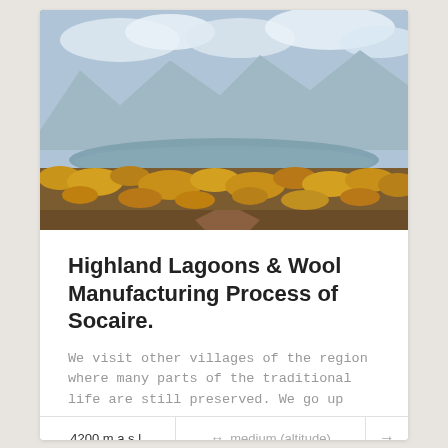[Figure (photo): Landscape photograph showing snow-capped mountains in the background with a blue-gray alpine lake in the middle distance, and dry golden-brown highland grasses and scrubland in the foreground under a partly cloudy sky.]
Highland Lagoons & Wool Manufacturing Process of Socaire.
We visit other villages of the region where many parts of the traditional life are still preserved. We go up
4200 m.a.s.l.   ↔  medium (altitude)   →